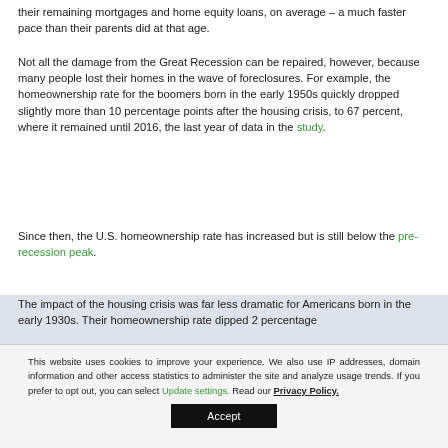their remaining mortgages and home equity loans, on average – a much faster pace than their parents did at that age.
Not all the damage from the Great Recession can be repaired, however, because many people lost their homes in the wave of foreclosures. For example, the homeownership rate for the boomers born in the early 1950s quickly dropped slightly more than 10 percentage points after the housing crisis, to 67 percent, where it remained until 2016, the last year of data in the study.
Since then, the U.S. homeownership rate has increased but is still below the pre-recession peak.
The impact of the housing crisis was far less dramatic for Americans born in the early 1930s. Their homeownership rate dipped 2 percentage
This website uses cookies to improve your experience. We also use IP addresses, domain information and other access statistics to administer the site and analyze usage trends. If you prefer to opt out, you can select Update settings. Read our Privacy Policy.